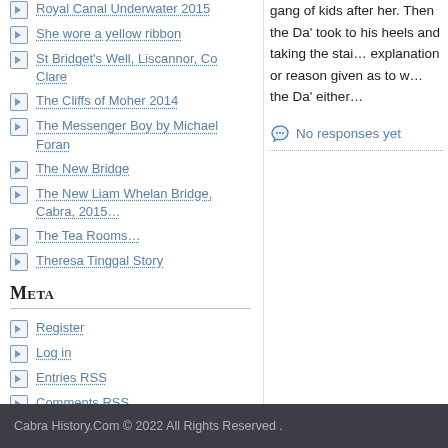Royal Canal Underwater 2015
She wore a yellow ribbon
St Bridget's Well, Liscannor, Co Clare
The Cliffs of Moher 2014
The Messenger Boy by Michael Foran
The New Bridge
The New Liam Whelan Bridge, Cabra, 2015…
The Tea Rooms…
Theresa Tinggal Story
Meta
Register
Log in
Entries RSS
Comments RSS
WordPress.org
gang of kids after her. Then the Da' took to his heels and taking the stai… explanation or reason given as to w… the Da' either…
No responses yet
Cabra History.Com © 2022 All Rights Reserved .